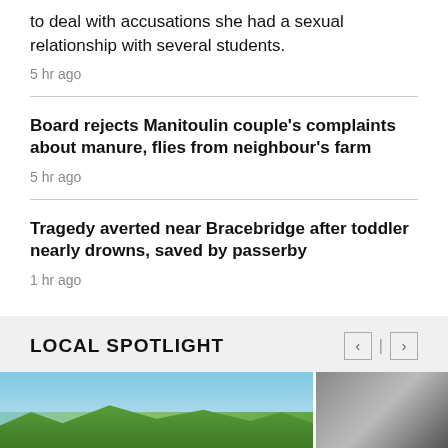…Sudbury has been suspended pending a disciplinary hearing to deal with accusations she had a sexual relationship with several students.
5 hr ago
Board rejects Manitoulin couple's complaints about manure, flies from neighbour's farm
5 hr ago
Tragedy averted near Bracebridge after toddler nearly drowns, saved by passerby
1 hr ago
LOCAL SPOTLIGHT
[Figure (photo): Outdoor landscape photo showing blue sky and green trees]
[Figure (photo): Partial photo showing metallic/automotive detail]